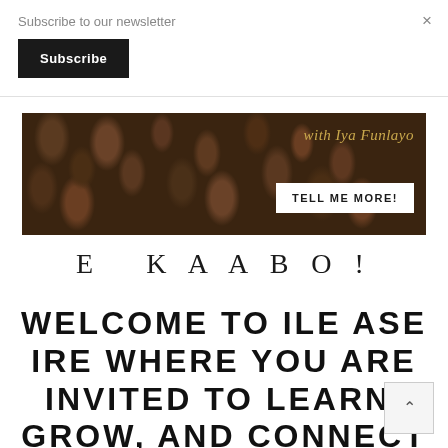Subscribe to our newsletter
Subscribe
×
[Figure (photo): Dark background with brown seeds/pods texture. Text overlay reads 'with Iya Funlayo' in gold italic font, and a white button labeled 'TELL ME MORE!']
E KAABO!
WELCOME TO ILE ASE IRE WHERE YOU ARE INVITED TO LEARN, GROW, AND CONNECT WITH SPIRIT! JOIN US